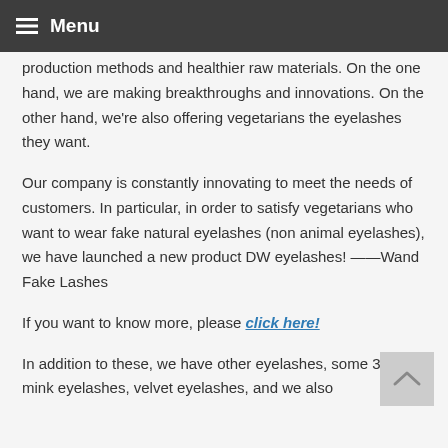Menu
production methods and healthier raw materials. On the one hand, we are making breakthroughs and innovations. On the other hand, we're also offering vegetarians the eyelashes they want.
Our company is constantly innovating to meet the needs of customers. In particular, in order to satisfy vegetarians who want to wear fake natural eyelashes (non animal eyelashes), we have launched a new product DW eyelashes! ——Wand Fake Lashes
If you want to know more, please click here!
In addition to these, we have other eyelashes, some 3D mink eyelashes, velvet eyelashes, and we also